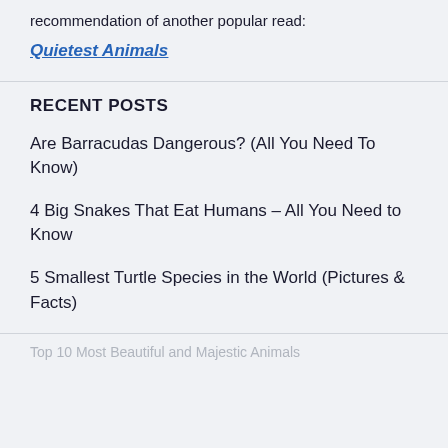recommendation of another popular read:
Quietest Animals
RECENT POSTS
Are Barracudas Dangerous? (All You Need To Know)
4 Big Snakes That Eat Humans – All You Need to Know
5 Smallest Turtle Species in the World (Pictures & Facts)
Top 10 Most Beautiful and Majestic Animals